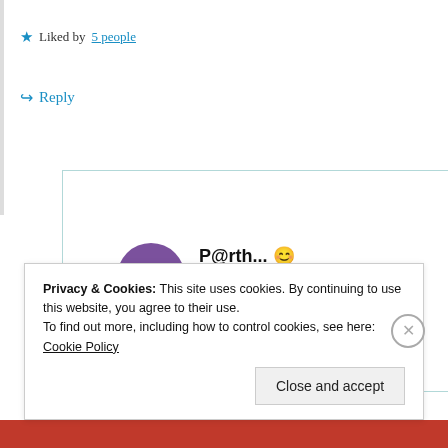explained positively done 🟢 🤌 🤌 🌶 🌶
★ Liked by 5 people
↪ Reply
P@rth... 😊
July 16, 2020 at 12:32 pm
Thank you so much 🤗 😇
Privacy & Cookies: This site uses cookies. By continuing to use this website, you agree to their use. To find out more, including how to control cookies, see here: Cookie Policy
Close and accept